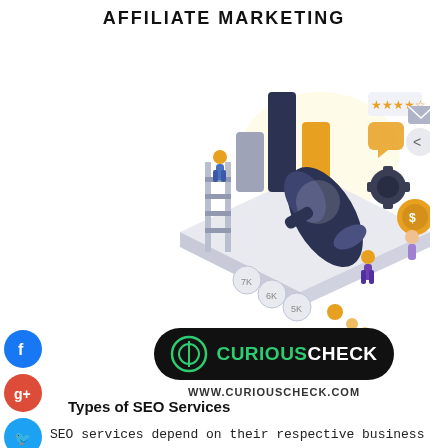AFFILIATE MARKETING
[Figure (illustration): Isometric illustration of affiliate marketing: a megaphone, bar charts, a ladder, small figurines of people, social/notification icons, a laptop-like platform, and orange/gold accents on a white background.]
[Figure (logo): CuriousCheck logo: black pill-shaped badge with green circular icon on the left and 'CURIOUSCHECK' text in green and white, followed by URL 'WWW.CURIOUSCHECK.COM' below.]
Types of SEO Services
SEO services depend on their respective business processes